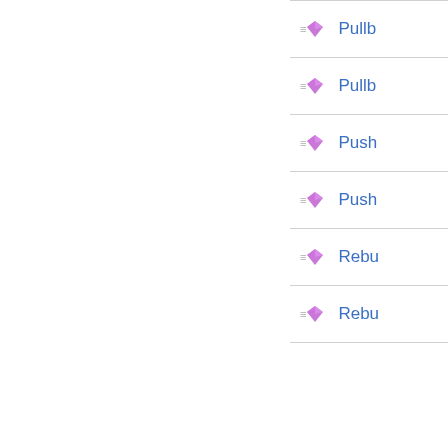Pullb...
Pullb...
Push...
Push...
Rebu...
Rebu...